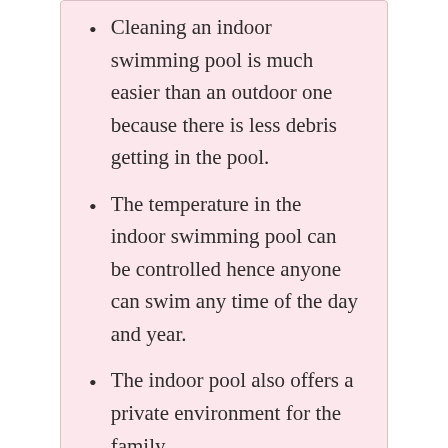Cleaning an indoor swimming pool is much easier than an outdoor one because there is less debris getting in the pool.
The temperature in the indoor swimming pool can be controlled hence anyone can swim any time of the day and year.
The indoor pool also offers a private environment for the family.
Whether to have an indoor pool or not is entirely dependent on the costs involved.
When planning for the pool’s design, take into consideration the size of the area available for the pool. For some bit of luxury in your home, having an indoor